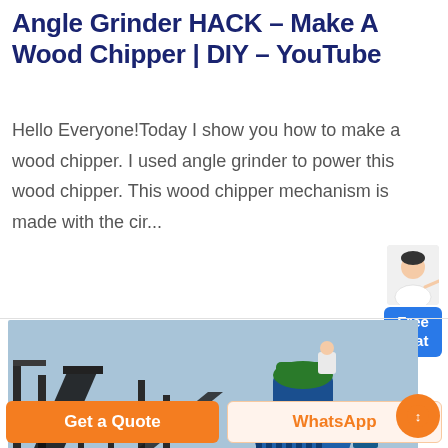Angle Grinder HACK – Make A Wood Chipper | DIY – YouTube
Hello Everyone!Today I show you how to make a wood chipper. I used angle grinder to power this wood chipper. This wood chipper mechanism is made with the cir...
[Figure (photo): Industrial machine — large blue cone crusher with conveyor belt and metal framework, outdoor industrial setting, blue sky background.]
Get a Quote
WhatsApp